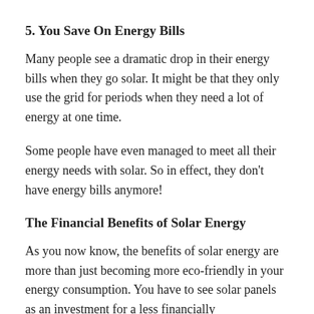5. You Save On Energy Bills
Many people see a dramatic drop in their energy bills when they go solar. It might be that they only use the grid for periods when they need a lot of energy at one time.
Some people have even managed to meet all their energy needs with solar. So in effect, they don't have energy bills anymore!
The Financial Benefits of Solar Energy
As you now know, the benefits of solar energy are more than just becoming more eco-friendly in your energy consumption. You have to see solar panels as an investment for a less financially